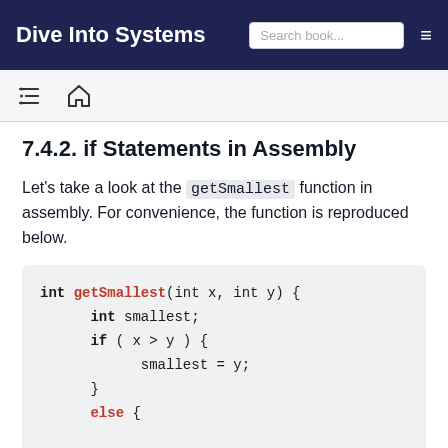Dive Into Systems | Search book...
7.4.2. if Statements in Assembly
Let's take a look at the getSmallest function in assembly. For convenience, the function is reproduced below.
int getSmallest(int x, int y) {
    int smallest;
    if ( x > y ) {
        smallest = y;
    }
    else {